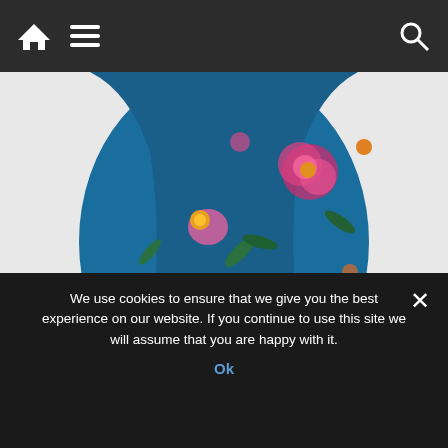Navigation bar with home, menu, and search icons
[Figure (photo): Close-up photo of a person wearing a blue floral dress/top with pink, orange, and yellow flowers. Photo credit: © Lucy Ray Photography]
© Lucy Ray Photography
In March 2018, Kelly, then aged 34, underwent TVT surgery for a prolapse. ‘The only thing they offered
We use cookies to ensure that we give you the best experience on our website. If you continue to use this site we will assume that you are happy with it.
Ok